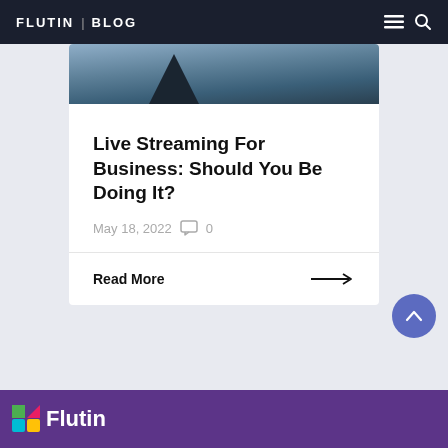FLUTIN | BLOG
[Figure (photo): Dark sky with a tree silhouette at bottom left — top portion of a blog post hero image]
Live Streaming For Business: Should You Be Doing It?
May 18, 2022  0
Read More →
[Figure (logo): Flutin logo mark (colorful icon) and white 'Flutin' text on purple footer background]